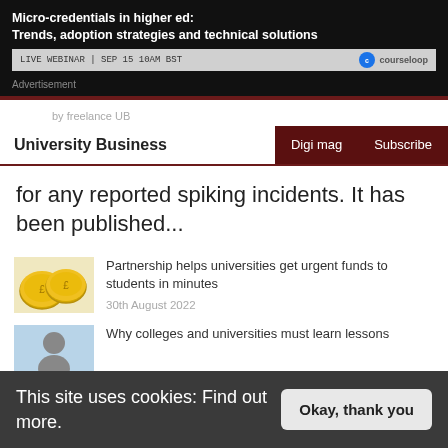[Figure (screenshot): Advertisement banner for Courseloop webinar: 'Micro-credentials in higher ed: Trends, adoption strategies and technical solutions'. Live Webinar Sep 15 10AM BST.]
Advertisement
by freelance UB
University Business | Digi mag | Subscribe
for any reported spiking incidents. It has been published...
[Figure (photo): Gold coins thumbnail for related article]
Partnership helps universities get urgent funds to students in minutes
30th August 2022
[Figure (photo): Person thumbnail for related article]
Why colleges and universities must learn lessons
This site uses cookies: Find out more.
Okay, thank you